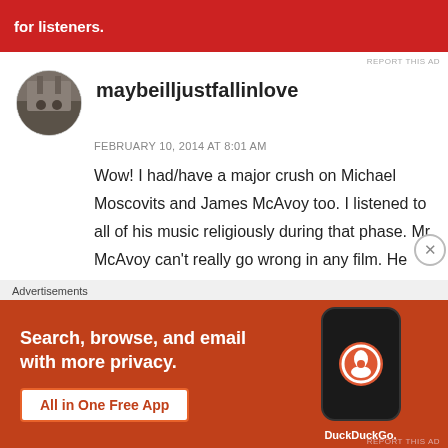[Figure (screenshot): Top red advertisement banner for Pocket Casts with text 'for listeners.' and a phone device image]
REPORT THIS AD
maybeilljustfallinlove
FEBRUARY 10, 2014 AT 8:01 AM
Wow! I had/have a major crush on Michael Moscovits and James McAvoy too. I listened to all of his music religiously during that phase. Mr McAvoy can't really go wrong in any film. He won my heart in Atonement. Great post!
Advertisements
[Figure (screenshot): DuckDuckGo advertisement: 'Search, browse, and email with more privacy. All in One Free App' with DuckDuckGo logo and phone mockup]